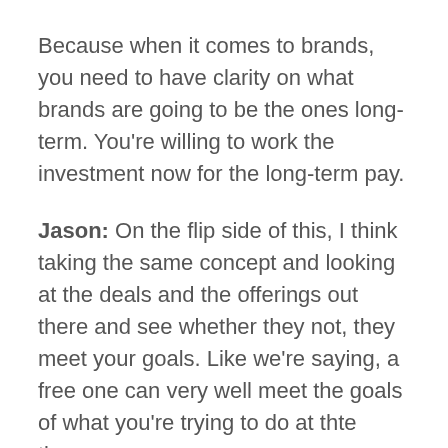Because when it comes to brands, you need to have clarity on what brands are going to be the ones long-term. You're willing to work the investment now for the long-term pay.
Jason: On the flip side of this, I think taking the same concept and looking at the deals and the offerings out there and see whether they not, they meet your goals. Like we're saying, a free one can very well meet the goals of what you're trying to do at thte time.
And on the other side of the coin is, there might be a brand out there willing to pay you 10 grand or 20 grand to do work for them but you're not personally aligned or your blog's